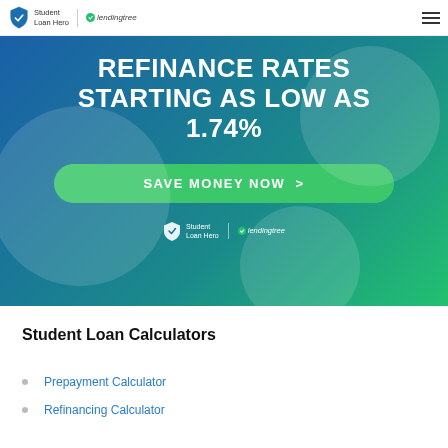Student Loan Hero | lendingtree
[Figure (infographic): Banner advertisement with gradient blue-to-green background showing text 'REFINANCE RATES STARTING AS LOW AS 1.74%' with a green 'SAVE MONEY NOW >' button and Student Loan Hero / LendingTree logo]
Student Loan Calculators
Prepayment Calculator
Refinancing Calculator